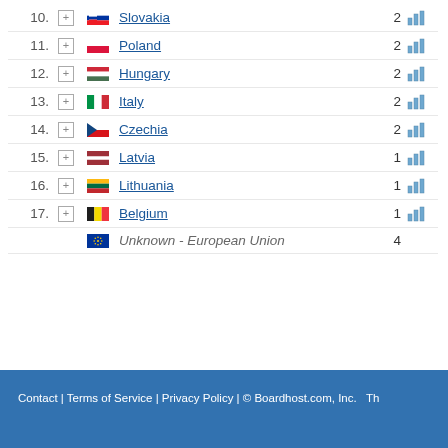| Rank |  | Country | Count |  |
| --- | --- | --- | --- | --- |
| 10. | + | Slovakia | 2 | chart |
| 11. | + | Poland | 2 | chart |
| 12. | + | Hungary | 2 | chart |
| 13. | + | Italy | 2 | chart |
| 14. | + | Czechia | 2 | chart |
| 15. | + | Latvia | 1 | chart |
| 16. | + | Lithuania | 1 | chart |
| 17. | + | Belgium | 1 | chart |
|  |  | Unknown - European Union | 4 |  |
Contact | Terms of Service | Privacy Policy | © Boardhost.com, Inc.   Th